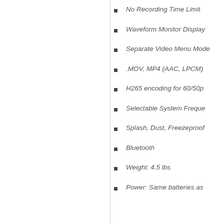No Recording Time Limit
Waveform Monitor Display
Separate Video Menu Mode
.MOV, MP4 (AAC, LPCM)
H265 encoding for 60/50p
Selectable System Frequency
Splash, Dust, Freezeproof
Bluetooth
Weight: 4.5 lbs
Power: Same batteries as